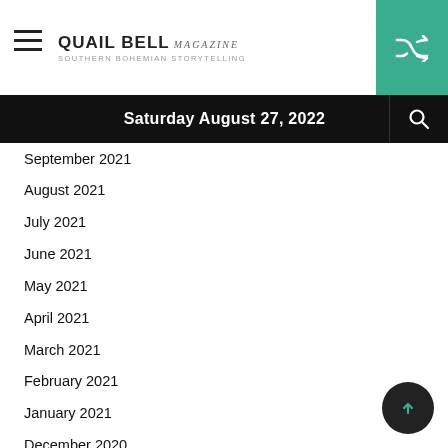QUAIL BELL magazine
Saturday August 27, 2022
September 2021
August 2021
July 2021
June 2021
May 2021
April 2021
March 2021
February 2021
January 2021
December 2020
November 2020
October 2020
September 2020
August 2020
July 2020